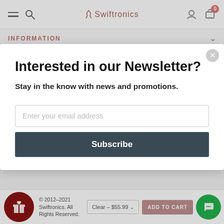Swiftronics
INFORMATION
Interested in our Newsletter?
Stay in the know with news and promotions.
Enter your email address
Subscribe
© 2012-2021 Swiftronics. All Rights Reserved.
Clear - $55.99
ADD TO CART